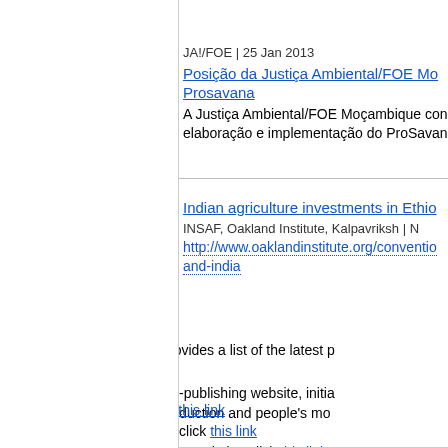other
JA!/FOE | 25 Jan 2013
Posição da Justiça Ambiental/FOE Moçambique sobre o Prosavana
A Justiça Ambiental/FOE Moçambique condena veementemente a elaboração e implementação do ProSavana
events
Indian agriculture investments in Ethiopia
INSAF, Oakland Institute, Kalpavriksh | N
http://www.oaklandinstitute.org/conventions-and-india
farmlandgrab.org weekly provides a list of the latest publications via email each week
farmlandgrab.org is an open-publishing website, initiated to monitor the global land grab for food production and people's movements against it.
to subscribe to the list, click this link
to unsubscribe from the list, click this link
to visit or post materials to the website, click this link
to contact us, write to info@farmlandgrab.org